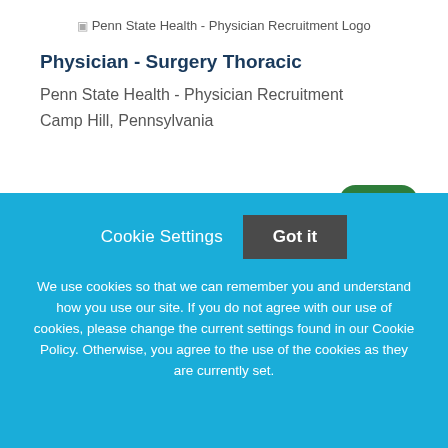[Figure (logo): Penn State Health - Physician Recruitment Logo]
Physician - Surgery Thoracic
Penn State Health - Physician Recruitment
Camp Hill, Pennsylvania
NEW!
Cookie Settings   Got it
We use cookies so that we can remember you and understand how you use our site. If you do not agree with our use of cookies, please change the current settings found in our Cookie Policy. Otherwise, you agree to the use of the cookies as they are currently set.